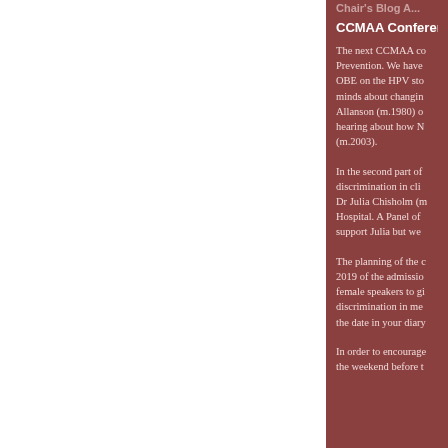Chair's Blog A...
CCMAA Conference...
The next CCMAA co... Prevention. We have... OBE on the HPV sto... minds about changin... Allanson (m.1980) o... hearing about how N... (m.2003).
In the second part of... discrimination in cli... Dr Julia Chisholm (m... Hospital. A Panel of... support Julia but we...
The planning of the c... 2019 of the admissio... female speakers to gi... discrimination in me... the date in your diary...
In order to encourage... the weekend before t...